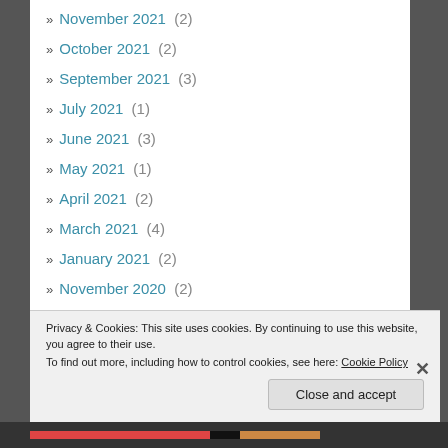» November 2021 (2)
» October 2021 (2)
» September 2021 (3)
» July 2021 (1)
» June 2021 (3)
» May 2021 (1)
» April 2021 (2)
» March 2021 (4)
» January 2021 (2)
» November 2020 (2)
» October 2020 (2)
Privacy & Cookies: This site uses cookies. By continuing to use this website, you agree to their use.
To find out more, including how to control cookies, see here: Cookie Policy